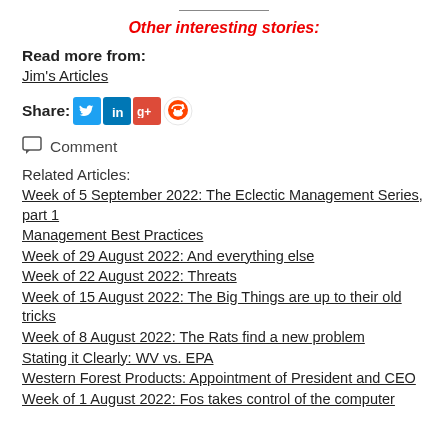Other interesting stories:
Read more from:
Jim's Articles
Share:
[Figure (other): Social share icons: Twitter, LinkedIn, Google+, Reddit]
Comment
Related Articles:
Week of 5 September 2022: The Eclectic Management Series, part 1
Management Best Practices
Week of 29 August 2022: And everything else
Week of 22 August 2022: Threats
Week of 15 August 2022: The Big Things are up to their old tricks
Week of 8 August 2022: The Rats find a new problem
Stating it Clearly: WV vs. EPA
Western Forest Products: Appointment of President and CEO
Week of 1 August 2022: Fos takes control of the computer